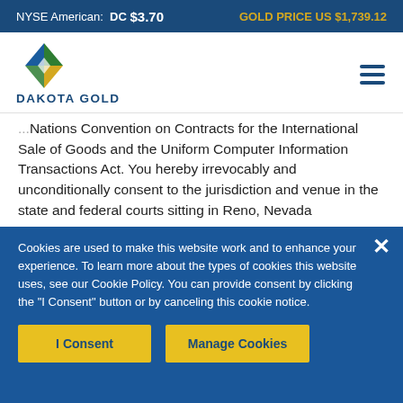NYSE American: DC $3.70   GOLD PRICE US $1,739.12
[Figure (logo): Dakota Gold logo with geometric diamond shape in blue, green, and yellow, with text DAKOTA GOLD below]
Nations Convention on Contracts for the International Sale of Goods and the Uniform Computer Information Transactions Act. You hereby irrevocably and unconditionally consent to the jurisdiction and venue in the state and federal courts sitting in Reno, Nevada
Cookies are used to make this website work and to enhance your experience. To learn more about the types of cookies this website uses, see our Cookie Policy. You can provide consent by clicking the "I Consent" button or by canceling this cookie notice.